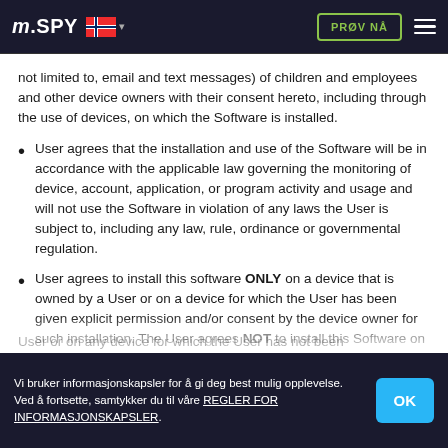mSPY [Norwegian flag] PRØV NÅ [menu]
not limited to, email and text messages) of children and employees and other device owners with their consent hereto, including through the use of devices, on which the Software is installed.
User agrees that the installation and use of the Software will be in accordance with the applicable law governing the monitoring of device, account, application, or program activity and usage and will not use the Software in violation of any laws the User is subject to, including any law, rule, ordinance or governmental regulation.
User agrees to install this software ONLY on a device that is owned by a User or on a device for which the User has been given explicit permission and/or consent by the device owner for such installation. The User agrees NOT to install this Software on any device that is not owned by the User or on any device for which the User has not been
Vi bruker informasjonskapsler for å gi deg best mulig opplevelse. Ved å fortsette, samtykker du til våre REGLER FOR INFORMASJONSKAPSLER. OK